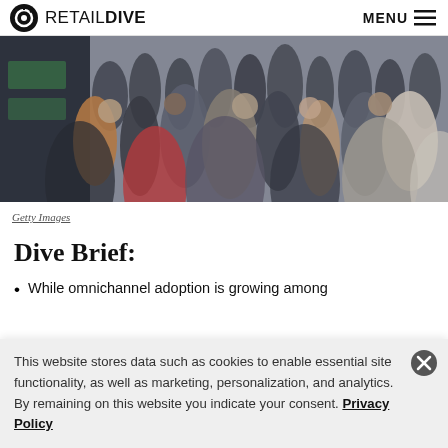RETAIL DIVE | MENU
[Figure (photo): Crowded shopping street with many pedestrians, blurred storefront in background.]
Getty Images
Dive Brief:
While omnichannel adoption is growing among
This website stores data such as cookies to enable essential site functionality, as well as marketing, personalization, and analytics. By remaining on this website you indicate your consent. Privacy Policy